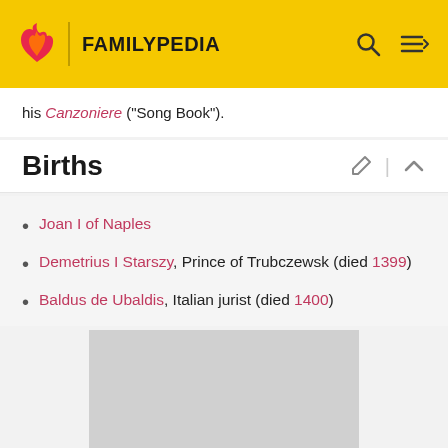FAMILYPEDIA
his Canzoniere ("Song Book").
Births
Joan I of Naples
Demetrius I Starszy, Prince of Trubczewsk (died 1399)
Baldus de Ubaldis, Italian jurist (died 1400)
[Figure (photo): Gray placeholder image box]